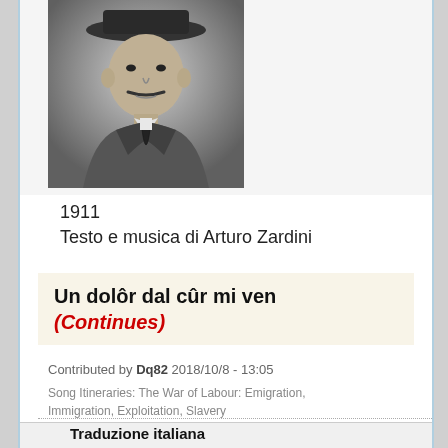[Figure (photo): Black and white portrait photograph of a man wearing a hat and suit, identified as Arturo Zardini, circa 1911]
1911
Testo e musica di Arturo Zardini
Un dolôr dal cûr mi ven
(Continues)
Contributed by Dq82 2018/10/8 - 13:05
Song Itineraries: The War of Labour: Emigration, Immigration, Exploitation, Slavery
Traduzione italiana